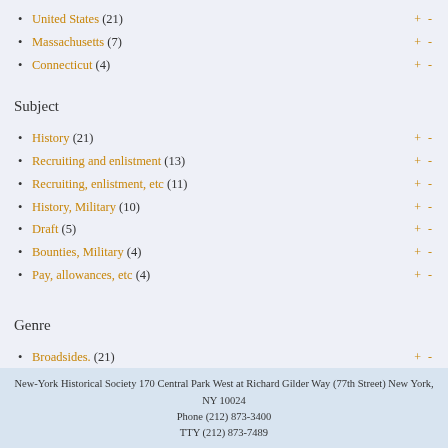United States (21)
Massachusetts (7)
Connecticut (4)
Subject
History (21)
Recruiting and enlistment (13)
Recruiting, enlistment, etc (11)
History, Military (10)
Draft (5)
Bounties, Military (4)
Pay, allowances, etc (4)
Genre
Broadsides. (21)
government publication (16)
New-York Historical Society 170 Central Park West at Richard Gilder Way (77th Street) New York, NY 10024 Phone (212) 873-3400 TTY (212) 873-7489